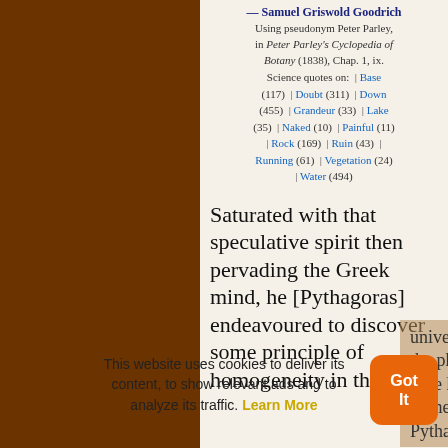— Samuel Griswold Goodrich
Using pseudonym Peter Parley, in Peter Parley's Cyclopedia of Botany (1838), Chap. 1, ix.
Science quotes on: | Base (117) | Doubt (311) | Down (455) | Grandeur (33) | Lake (35) | Naked (10) | Painful (11) | Rock (169) | Ruin (43) | Running (61) | Vegetation (24) | Water (494)
Saturated with that speculative spirit then pervading the Greek mind, he [Pythagoras] endeavoured to discover some principle of homogeneity in the universe. Before him, the philosophers of the time had sought... in the matter of things; Pythagoras looked for it
This website uses cookies to deliver its content, to show relevant ads and to analyze its traffic. Learn More